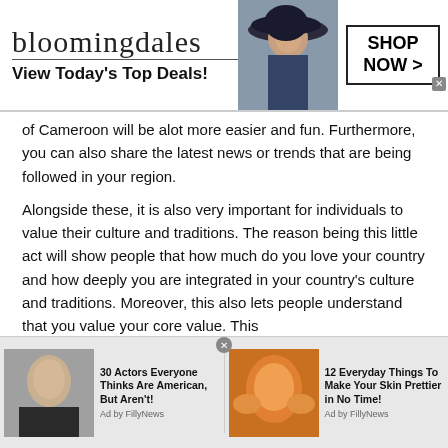[Figure (screenshot): Bloomingdale's advertisement banner: logo text 'bloomingdales', tagline 'View Today's Top Deals!', woman in wide-brim hat, and 'SHOP NOW >' button box.]
of Cameroon will be alot more easier and fun. Furthermore, you can also share the latest news or trends that are being followed in your region.
Alongside these, it is also very important for individuals to value their culture and traditions. The reason being this little act will show people that how much do you love your country and how deeply you are integrated in your country's culture and traditions. Moreover, this also lets people understand that you value your core value. This
[Figure (screenshot): Two promotional ad items at bottom: '30 Actors Everyone Thinks Are American, But Aren't! Ad by FillyNews' with a man photo, and '12 Everyday Things To Make Your Skin Prettier in No Time! Ad by FillyNews' with a woman applying face mask.]